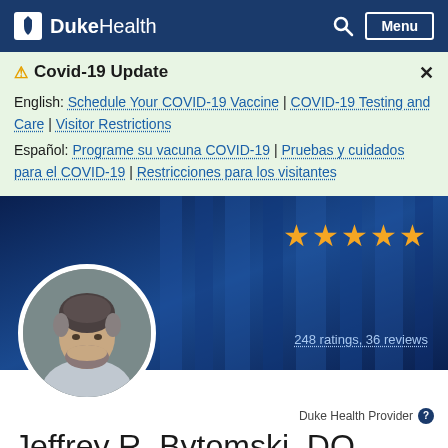DukeHealth
⚠ Covid-19 Update
English: Schedule Your COVID-19 Vaccine | COVID-19 Testing and Care | Visitor Restrictions
Español: Programe su vacuna COVID-19 | Pruebas y cuidados para el COVID-19 | Restricciones para los visitantes
[Figure (photo): Circular profile photo of Dr. Jeffrey R. Bytomski, a middle-aged man with salt-and-pepper hair and a beard, smiling, on a dark blue striped background with 5 gold star rating and '248 ratings, 36 reviews']
Duke Health Provider
Jeffrey R. Bytomski, DO
Sports Medicine Specialist